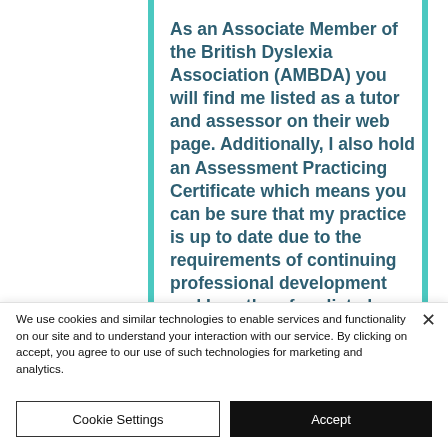As an Associate Member of the British Dyslexia Association (AMBDA) you will find me listed as a tutor and assessor on their web page. Additionally, I also hold an Assessment Practicing Certificate which means you can be sure that my practice is up to date due to the requirements of continuing professional development and I am therefore listed on the SpLD Assessment Standards Committee (SASC) website. If there is information
We use cookies and similar technologies to enable services and functionality on our site and to understand your interaction with our service. By clicking on accept, you agree to our use of such technologies for marketing and analytics.
Cookie Settings
Accept